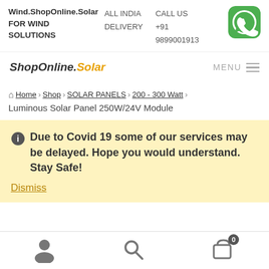Wind.ShopOnline.Solar FOR WIND SOLUTIONS — ALL INDIA DELIVERY — CALL US +91 9899001913 — CONTACT (WhatsApp)
[Figure (logo): ShopOnline.Solar logo in italic text with 'Solar' in orange/gold color]
MENU
Home › Shop › SOLAR PANELS › 200 - 300 Watt › Luminous Solar Panel 250W/24V Module
ℹ Due to Covid 19 some of our services may be delayed. Hope you would understand. Stay Safe! Dismiss
[Figure (infographic): Bottom navigation bar with user account icon, search icon, and cart icon with badge showing 0]